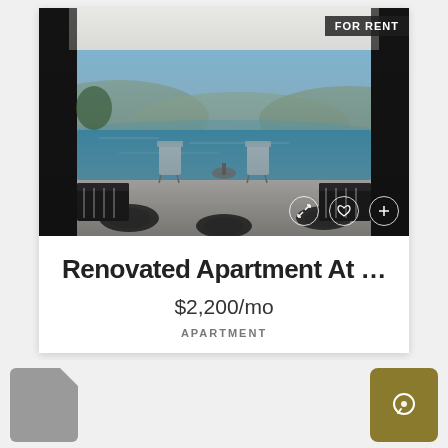[Figure (photo): Luxury apartment terrace with infinity pool, modern lounge chairs, scenic mountain and lake view under clear blue sky]
FOR RENT
Renovated Apartment At ...
$2,200/mo
APARTMENT